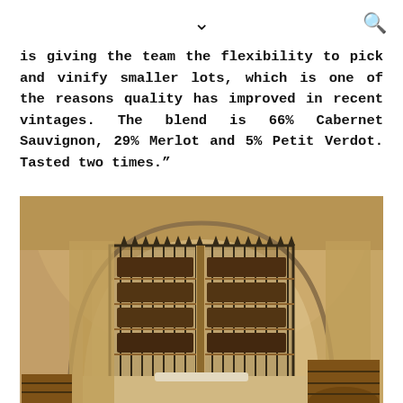chevron-down icon, search icon
is giving the team the flexibility to pick and vinify smaller lots, which is one of the reasons quality has improved in recent vintages. The blend is 66% Cabernet Sauvignon, 29% Merlot and 5% Petit Verdot. Tasted two times.”
[Figure (photo): Interior of a stone wine cellar with a large arched ceiling. Behind ornate wrought-iron gates are floor-to-ceiling wine racks filled with dark bottles, illuminated with warm lighting. In the foreground are wooden barrels.]